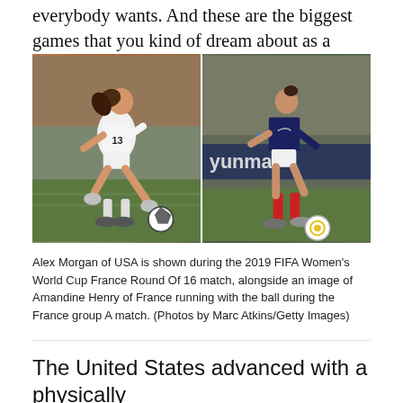everybody wants. And these are the biggest games that you kind of dream about as a kid," Rapinoe said.
[Figure (photo): Two soccer players side by side: Alex Morgan of USA (#13) in white kit kicking a ball on the left, and Amandine Henry of France in dark blue kit with red socks dribbling a ball on the right. A Hyundai advertisement banner is visible in the background of the right photo.]
Alex Morgan of USA is shown during the 2019 FIFA Women's World Cup France Round Of 16 match, alongside an image of Amandine Henry of France running with the ball during the France group A match. (Photos by Marc Atkins/Getty Images)
The United States advanced with a physically